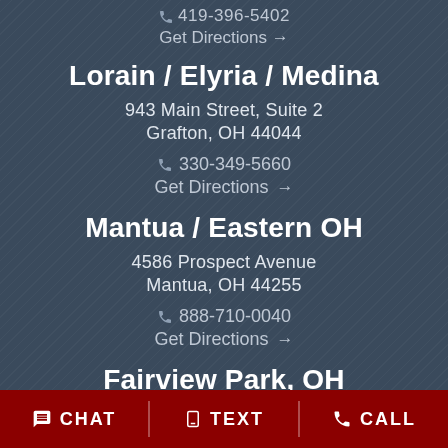419-396-5402
Get Directions →
Lorain / Elyria / Medina
943 Main Street, Suite 2
Grafton, OH 44044
330-349-5660
Get Directions →
Mantua / Eastern OH
4586 Prospect Avenue
Mantua, OH 44255
888-710-0040
Get Directions →
Fairview Park, OH
CHAT   TEXT   CALL